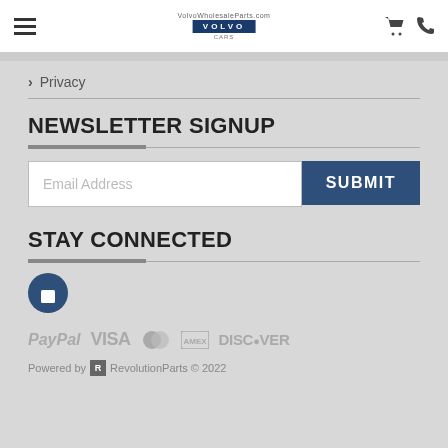VolvowholesaleParts.com / Curry Volvo Cars — header with hamburger menu, logo, cart and phone icons
> Privacy
NEWSLETTER SIGNUP
Email Address [input] SUBMIT [button]
STAY CONNECTED
[Figure (illustration): Dark blue circular shopping bag icon]
[Figure (illustration): Payment method logos: PayPal, VISA, Mastercard, American Express, Discover]
Powered by R RevolutionParts © 2022